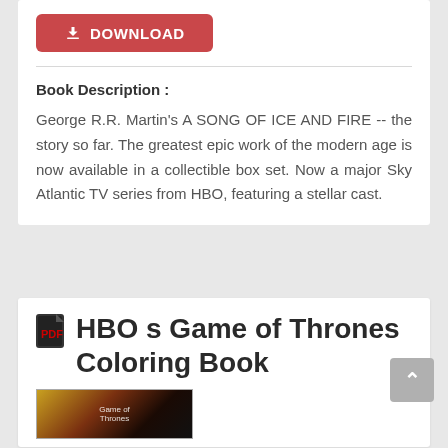[Figure (other): Red download button with download icon and text DOWNLOAD]
Book Description :
George R.R. Martin's A SONG OF ICE AND FIRE -- the story so far. The greatest epic work of the modern age is now available in a collectible box set. Now a major Sky Atlantic TV series from HBO, featuring a stellar cast.
HBO s Game of Thrones Coloring Book
[Figure (photo): Book cover image partially visible at bottom of page for HBO Game of Thrones Coloring Book]